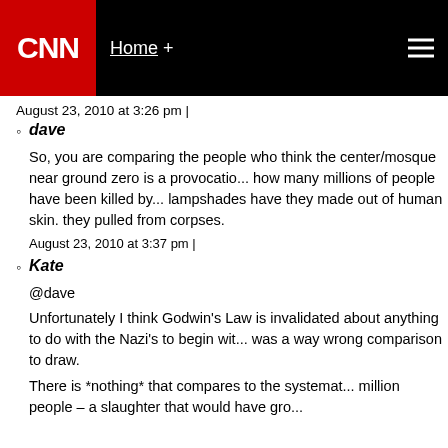CNN Home +
August 23, 2010 at 3:26 pm |
dave
So, you are comparing the people who think the center/mosque near ground zero is a provocatio... how many millions of people have been killed by... lampshades have they made out of human skin. they pulled from corpses.
August 23, 2010 at 3:37 pm |
Kate
@dave
Unfortunately I think Godwin's Law is invalidated about anything to do with the Nazi's to begin wit... was a way wrong comparison to draw.
There is *nothing* that compares to the systemat... million people – a slaughter that would have gro...